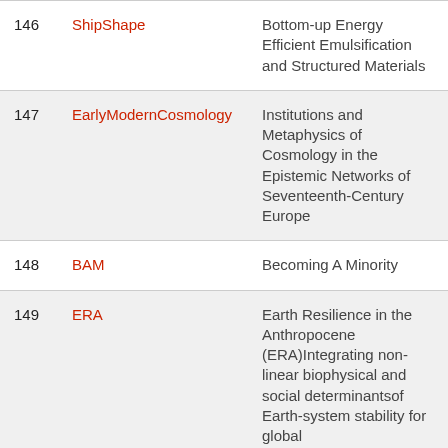| # | Name | Title |
| --- | --- | --- |
| 146 | ShipShape | Bottom-up Energy Efficient Emulsification and Structured Materials |
| 147 | EarlyModernCosmology | Institutions and Metaphysics of Cosmology in the Epistemic Networks of Seventeenth-Century Europe |
| 148 | BAM | Becoming A Minority |
| 149 | ERA | Earth Resilience in the Anthropocene (ERA)Integrating non-linear biophysical and social determinantsof Earth-system stability for global sustainabilitythrough |